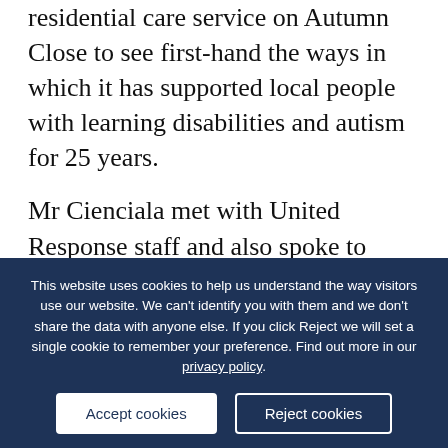residential care service on Autumn Close to see first-hand the ways in which it has supported local people with learning disabilities and autism for 25 years.

Mr Cienciala met with United Response staff and also spoke to current residents about how the charity's bespoke support enables them to live independent and active lives in their local community.
This website uses cookies to help us understand the way visitors use our website. We can't identify you with them and we don't share the data with anyone else. If you click Reject we will set a single cookie to remember your preference. Find out more in our privacy policy.